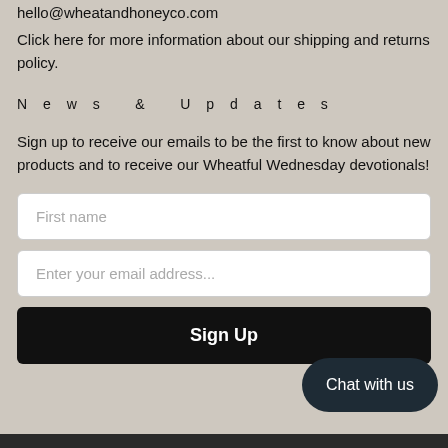hello@wheatandhoneyco.com
Click here for more information about our shipping and returns policy.
News & Updates
Sign up to receive our emails to be the first to know about new products and to receive our Wheatful Wednesday devotionals!
[Figure (screenshot): Email signup form with First name field, Enter your email address field, and Sign Up button]
[Figure (other): Chat with us button overlay in dark navy rounded pill shape]